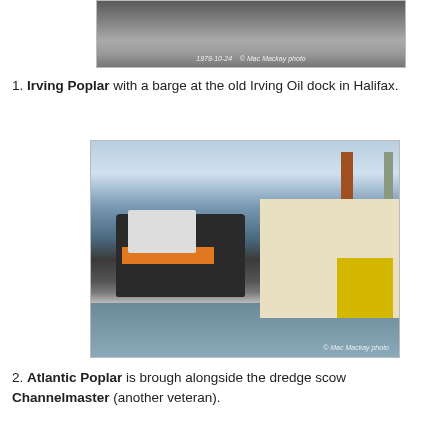[Figure (photo): Black and white photograph of Irving Poplar with a barge at the old Irving Oil dock in Halifax, dated 1979-10-24, Mac Mackay photo]
1. Irving Poplar with a barge at the old Irving Oil dock in Halifax.
[Figure (photo): Color photograph of Atlantic Poplar tugboat brought alongside the dredge scow Channelmaster, Mac Mackay photo]
2. Atlantic Poplar is brough alongside the dredge scow Channelmaster (another veteran).